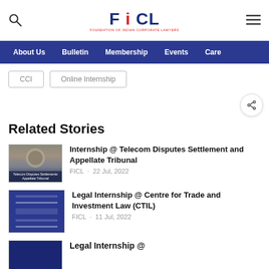FICL — Foundation of Indian Corporate Lawyers
About Us   Bulletin   Membership   Events   Care
CCI
Online Internship
Related Stories
Internship @ Telecom Disputes Settlement and Appellate Tribunal
FICL · 22 Jul, 2022
Legal Internship @ Centre for Trade and Investment Law (CTIL)
FICL · 11 Jul, 2022
Legal Internship @